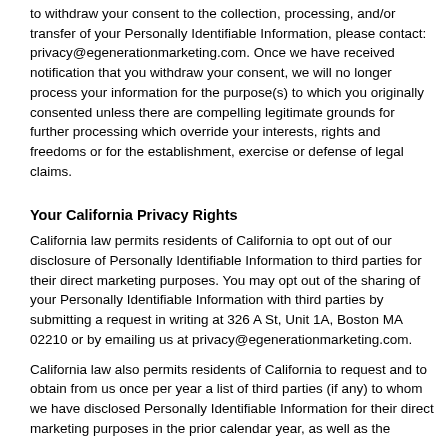to withdraw your consent to the collection, processing, and/or transfer of your Personally Identifiable Information, please contact: privacy@egenerationmarketing.com. Once we have received notification that you withdraw your consent, we will no longer process your information for the purpose(s) to which you originally consented unless there are compelling legitimate grounds for further processing which override your interests, rights and freedoms or for the establishment, exercise or defense of legal claims.
Your California Privacy Rights
California law permits residents of California to opt out of our disclosure of Personally Identifiable Information to third parties for their direct marketing purposes. You may opt out of the sharing of your Personally Identifiable Information with third parties by submitting a request in writing at 326 A St, Unit 1A, Boston MA 02210 or by emailing us at privacy@egenerationmarketing.com.
California law also permits residents of California to request and to obtain from us once per year a list of third parties (if any) to whom we have disclosed Personally Identifiable Information for their direct marketing purposes in the prior calendar year, as well as the